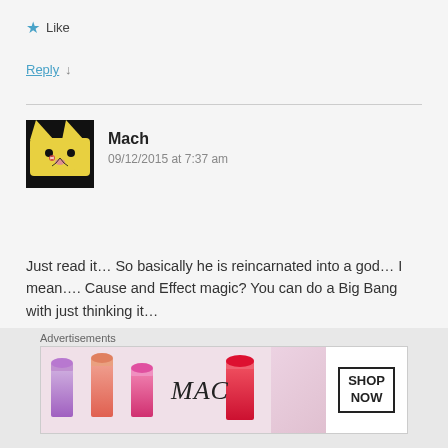★ Like
Reply ↓
Mach
09/12/2015 at 7:37 am
[Figure (illustration): Avatar image showing a cartoon fox or cat character with yellow fur on black background]
Just read it… So basically he is reincarnated into a god… I mean…. Cause and Effect magic? You can do a Big Bang with just thinking it…
★ Like
Reply ↓
[Figure (advertisement): MAC Cosmetics advertisement showing lipsticks in purple, pink, coral colors with MAC logo and SHOP NOW button]